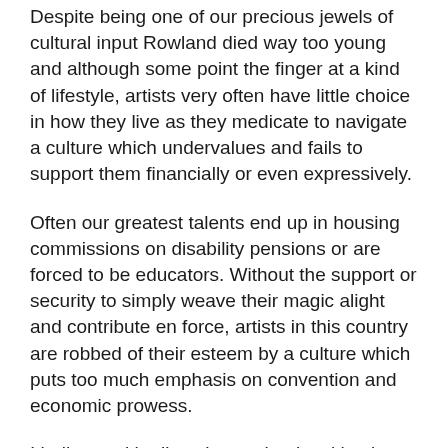Despite being one of our precious jewels of cultural input Rowland died way too young and although some point the finger at a kind of lifestyle, artists very often have little choice in how they live as they medicate to navigate a culture which undervalues and fails to support them financially or even expressively.
Often our greatest talents end up in housing commissions on disability pensions or are forced to be educators. Without the support or security to simply weave their magic alight and contribute en force, artists in this country are robbed of their esteem by a culture which puts too much emphasis on convention and economic prowess.
I believe, with all my heart, that local business would benefit by investing in local Art & Culture artists that live in every St Kilda block, our heritage alive yet buried,
If we bring in some respect, some heart back into the heart